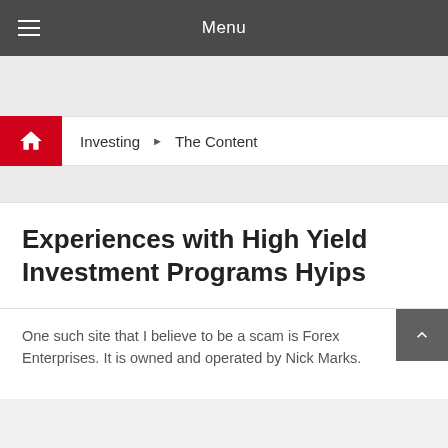Menu
Investing ▶ The Content
Experiences with High Yield Investment Programs Hyips
One such site that I believe to be a scam is Forex Enterprises. It is owned and operated by Nick Marks.